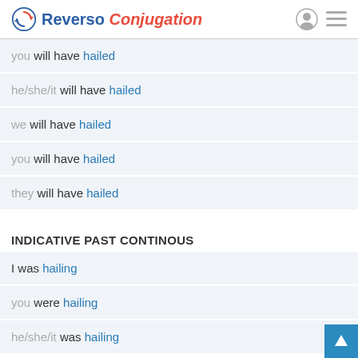Reverso Conjugation
you will have hailed
he/she/it will have hailed
we will have hailed
you will have hailed
they will have hailed
INDICATIVE PAST CONTINOUS
I was hailing
you were hailing
he/she/it was hailing